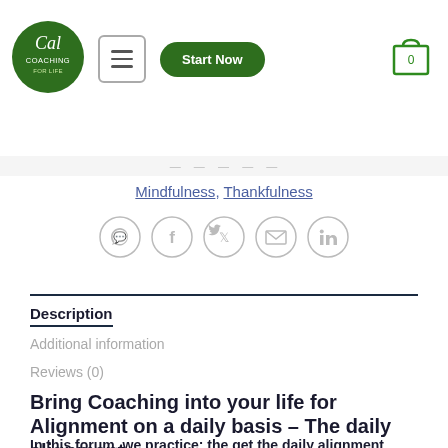[Figure (logo): Cal Coaching for Life circular green logo with stylized text]
Mindfulness, Thankfulness
[Figure (infographic): Row of 5 social sharing icons: WhatsApp, Facebook, Twitter, Email, LinkedIn — all in light gray circles]
Description
Additional information
Reviews (0)
Bring Coaching into your life for Alignment on a daily basis – The daily alignment
In this forum, we practice: the get the daily alignment